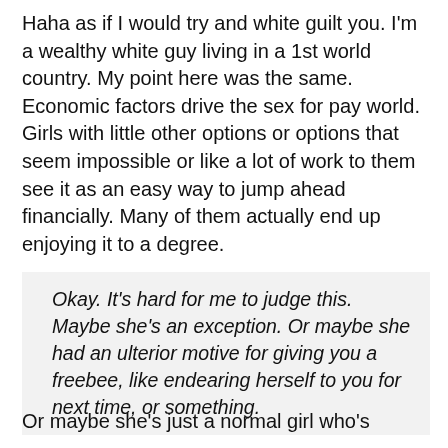Haha as if I would try and white guilt you. I'm a wealthy white guy living in a 1st world country. My point here was the same. Economic factors drive the sex for pay world. Girls with little other options or options that seem impossible or like a lot of work to them see it as an easy way to jump ahead financially. Many of them actually end up enjoying it to a degree.
Okay. It's hard for me to judge this. Maybe she's an exception. Or maybe she had an ulterior motive for giving you a freebee, like endearing herself to you for next time, or something.
Or maybe she's just a normal girl who's